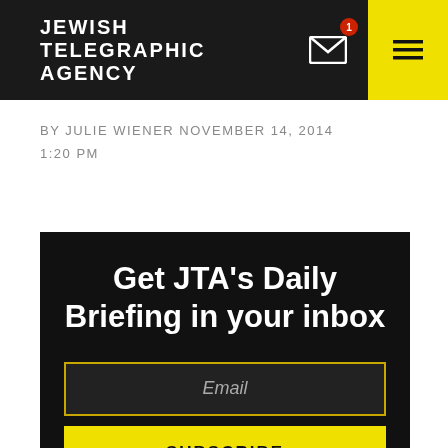JEWISH TELEGRAPHIC AGENCY
BY JULIE WIENER NOVEMBER 14, 2014 1:20 PM
Get JTA's Daily Briefing in your inbox
Email
SUBSCRIBE